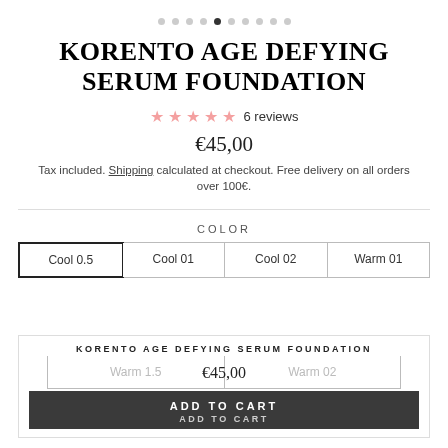[Figure (other): Carousel navigation dots, 10 dots with the 5th active]
KORENTO AGE DEFYING SERUM FOUNDATION
★★★★★ 6 reviews
€45,00
Tax included. Shipping calculated at checkout. Free delivery on all orders over 100€.
COLOR
| Cool 0.5 | Cool 01 | Cool 02 | Warm 01 |
| --- | --- | --- | --- |
KORENTO AGE DEFYING SERUM FOUNDATION
Warm 1.5    €45,00    Warm 02
ADD TO CART
ADD TO CART